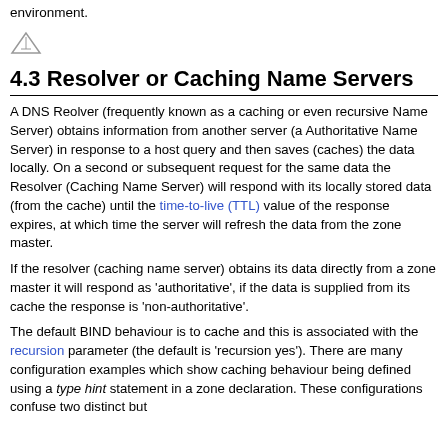environment.
[Figure (illustration): Small triangle/arrow icon]
4.3 Resolver or Caching Name Servers
A DNS Reolver (frequently known as a caching or even recursive Name Server) obtains information from another server (a Authoritative Name Server) in response to a host query and then saves (caches) the data locally. On a second or subsequent request for the same data the Resolver (Caching Name Server) will respond with its locally stored data (from the cache) until the time-to-live (TTL) value of the response expires, at which time the server will refresh the data from the zone master.
If the resolver (caching name server) obtains its data directly from a zone master it will respond as 'authoritative', if the data is supplied from its cache the response is 'non-authoritative'.
The default BIND behaviour is to cache and this is associated with the recursion parameter (the default is 'recursion yes'). There are many configuration examples which show caching behaviour being defined using a type hint statement in a zone declaration. These configurations confuse two distinct but